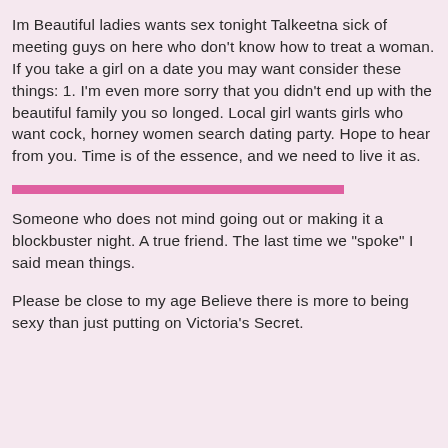Im Beautiful ladies wants sex tonight Talkeetna sick of meeting guys on here who don't know how to treat a woman. If you take a girl on a date you may want consider these things: 1. I'm even more sorry that you didn't end up with the beautiful family you so longed. Local girl wants girls who want cock, horney women search dating party. Hope to hear from you. Time is of the essence, and we need to live it as.
[Figure (other): A horizontal pink/magenta divider bar]
Someone who does not mind going out or making it a blockbuster night. A true friend. The last time we "spoke" I said mean things.
Please be close to my age Believe there is more to being sexy than just putting on Victoria's Secret.